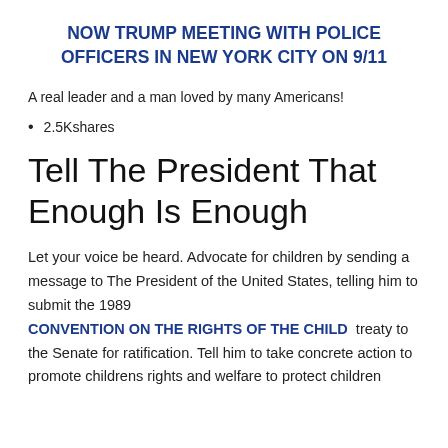NOW TRUMP MEETING WITH POLICE OFFICERS IN NEW YORK CITY ON 9/11
A real leader and a man loved by many Americans!
2.5Kshares
Tell The President That Enough Is Enough
Let your voice be heard. Advocate for children by sending a message to The President of the United States, telling him to submit the 1989 CONVENTION ON THE RIGHTS OF THE CHILD treaty to the Senate for ratification. Tell him to take concrete action to promote childrens rights and welfare to protect children